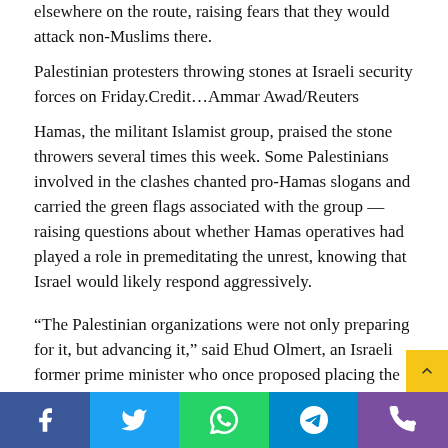elsewhere on the route, raising fears that they would attack non-Muslims there.
Palestinian protesters throwing stones at Israeli security forces on Friday.Credit…Ammar Awad/Reuters
Hamas, the militant Islamist group, praised the stone throwers several times this week. Some Palestinians involved in the clashes chanted pro-Hamas slogans and carried the green flags associated with the group — raising questions about whether Hamas operatives had played a role in premeditating the unrest, knowing that Israel would likely respond aggressively.
“The Palestinian organizations were not only preparing for it, but advancing it,” said Ehud Olmert, an Israeli former prime minister who once proposed placing the compound and adjacent areas of Jerusalem under shared sovereignty. “They